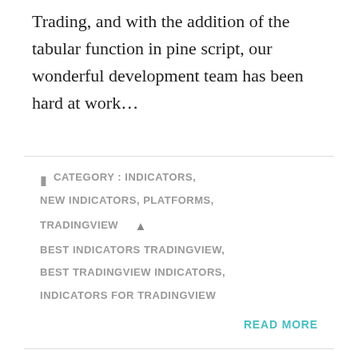Trading, and with the addition of the tabular function in pine script, our wonderful development team has been hard at work…
CATEGORY : INDICATORS, NEW INDICATORS, PLATFORMS, TRADINGVIEW
BEST INDICATORS TRADINGVIEW, BEST TRADINGVIEW INDICATORS, INDICATORS FOR TRADINGVIEW
READ MORE